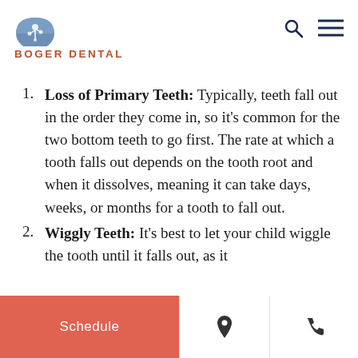[Figure (logo): Boger Dental logo: blue semicircle with white tree/flower design above text BOGER DENTAL in rust/terracotta bold caps]
Loss of Primary Teeth: Typically, teeth fall out in the order they come in, so it's common for the two bottom teeth to go first. The rate at which a tooth falls out depends on the tooth root and when it dissolves, meaning it can take days, weeks, or months for a tooth to fall out.
Wiggly Teeth: It's best to let your child wiggle the tooth until it falls out, as it
Schedule | [location icon] | [phone icon]